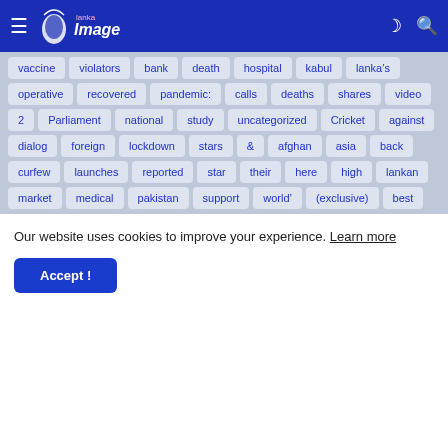Lanka Image
vaccine, violators, bank, death, hospital, kabul, lanka&#8217;s, operative, recovered, pandemic:, calls, deaths, shares, video, 2, Parliament, national, study, uncategorized, Cricket, against, dialog, foreign, lockdown, stars, &, afghan, asia, back, curfew, launches, reported, star, their, here, high, lankan, market, medical, pakistan, support, world&#8217;, (exclusive), best
Our website uses cookies to improve your experience. Learn more
Accept !